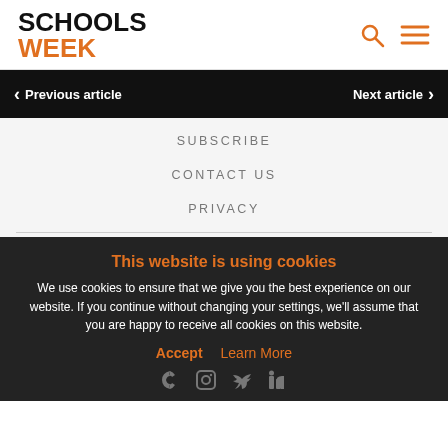SCHOOLS WEEK
Previous article
Next article
SUBSCRIBE
CONTACT US
PRIVACY
This website is using cookies
We use cookies to ensure that we give you the best experience on our website. If you continue without changing your settings, we'll assume that you are happy to receive all cookies on this website.
Accept   Learn More